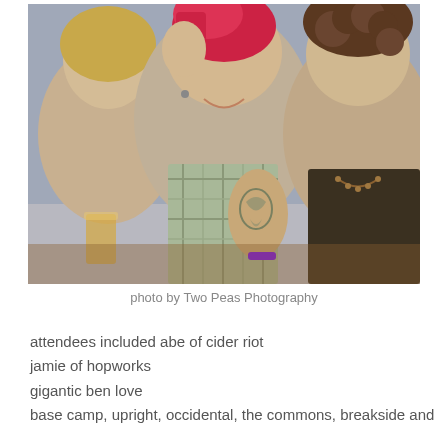[Figure (photo): Three women sitting together at what appears to be a bar or social event. The central figure has short bright pink/red hair and a plaid shirt with visible tattoos on her arm, smiling broadly. To her left is a woman with long blonde hair. To her right is a woman with curly brown hair wearing a dark top and a beaded necklace.]
photo by Two Peas Photography
attendees included abe of cider riot
jamie of hopworks
gigantic ben love
base camp, upright, occidental, the commons, breakside and